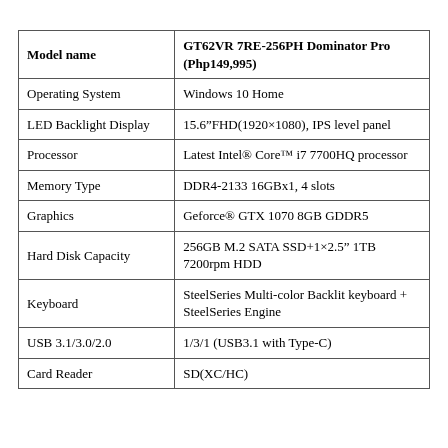| Model name | GT62VR 7RE-256PH Dominator Pro (Php149,995) |
| --- | --- |
| Operating System | Windows 10 Home |
| LED Backlight Display | 15.6”FHD(1920×1080), IPS level panel |
| Processor | Latest Intel® Core™ i7 7700HQ processor |
| Memory Type | DDR4-2133 16GBx1, 4 slots |
| Graphics | Geforce® GTX 1070 8GB GDDR5 |
| Hard Disk Capacity | 256GB M.2 SATA SSD+1×2.5” 1TB 7200rpm HDD |
| Keyboard | SteelSeries Multi-color Backlit keyboard + SteelSeries Engine |
| USB 3.1/3.0/2.0 | 1/3/1 (USB3.1 with Type-C) |
| Card Reader | SD(XC/HC) |